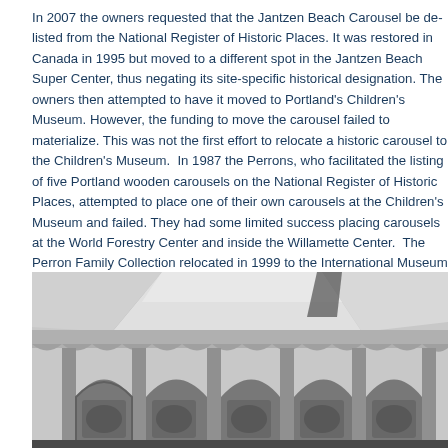In 2007 the owners requested that the Jantzen Beach Carousel be de-listed from the National Register of Historic Places. It was restored in Canada in 1995 but moved to a different spot in the Jantzen Beach Super Center, thus negating its site-specific historical designation. The owners then attempted to have it moved to Portland's Children's Museum. However, the funding to move the carousel failed to materialize. This was not the first effort to relocate a historic carousel to the Children's Museum.  In 1987 the Perrons, who facilitated the listing of five Portland wooden carousels on the National Register of Historic Places, attempted to place one of their own carousels at the Children's Museum and failed. They had some limited success placing carousels at the World Forestry Center and inside the Willamette Center.  The Perron Family Collection relocated in 1999 to the International Museum of Carousel Art at Hood River which closed in 2010 for relocation. Portland was once on track to be the Carousel Capitol of the World. This summer Portland will only have one remaining historic carousel in operation because we have sold off our heritage piece by piece.
[Figure (photo): Black and white photograph of a carousel structure showing the roof/canopy from the exterior with decorative arches visible at the bottom.]